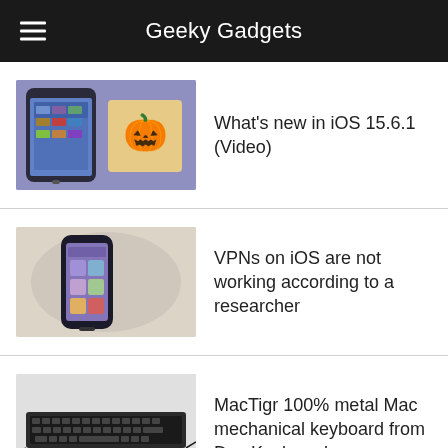Geeky Gadgets
What's new in iOS 15.6.1 (Video)
VPNs on iOS are not working according to a researcher
MacTigr 100% metal Mac mechanical keyboard from Das Keyboard
How to share your WiFi password on iPhone
Apple